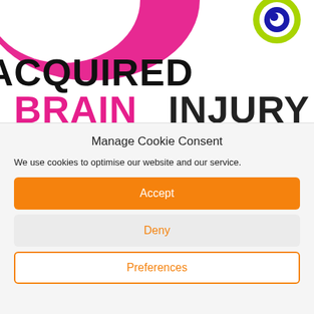[Figure (logo): Acquired Brain Injury website header with pink curved shape on left and circular logo (green/yellow ring with blue dot) on top right, and large bold text 'ACQUIRED BRAIN INJURY' partially visible]
Manage Cookie Consent
We use cookies to optimise our website and our service.
Accept
Deny
Preferences